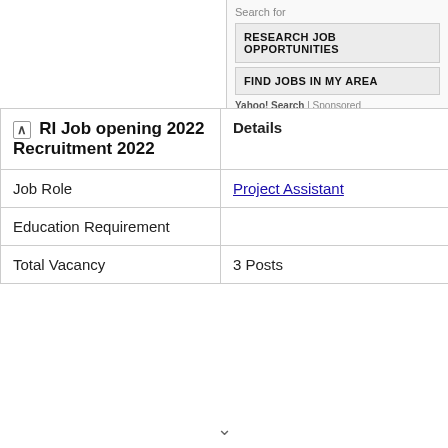[Figure (screenshot): Ad box with 'Search for' label, two buttons: 'RESEARCH JOB OPPORTUNITIES' and 'FIND JOBS IN MY AREA', and Yahoo! Search | Sponsored attribution]
| RI Job opening 2022 Recruitment 2022 | Details |
| --- | --- |
| Job Role | Project Assistant |
| Education Requirement |  |
| Total Vacancy | 3 Posts |